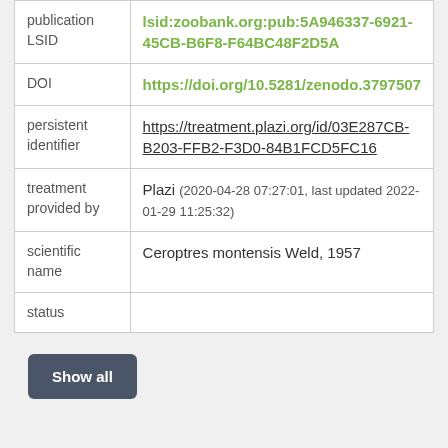|  |  |
| --- | --- |
| publication LSID | lsid:zoobank.org:pub:5A946337-6921-45CB-B6F8-F64BC48F2D5A |
| DOI | https://doi.org/10.5281/zenodo.3797507 |
| persistent identifier | https://treatment.plazi.org/id/03E287CB-B203-FFB2-F3D0-84B1FCD5FC16 |
| treatment provided by | Plazi (2020-04-28 07:27:01, last updated 2022-01-29 11:25:32) |
| scientific name | Ceroptres montensis Weld, 1957 |
| status |  |
Show all